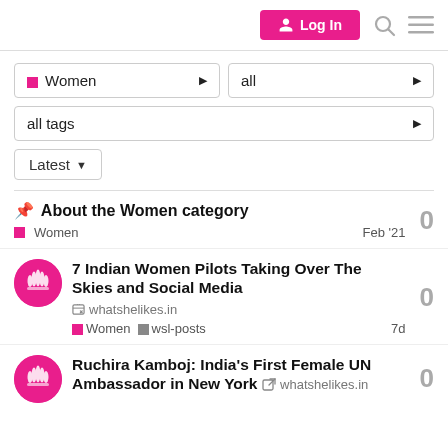Log In
Women ▶   all ▶
all tags ▶
Latest ▼
📌 About the Women category   0   Women   Feb '21
7 Indian Women Pilots Taking Over The Skies and Social Media   whatshelikes.in   Women   wsl-posts   7d   0
Ruchira Kamboj: India's First Female UN Ambassador in New York   whatshelikes.in   0